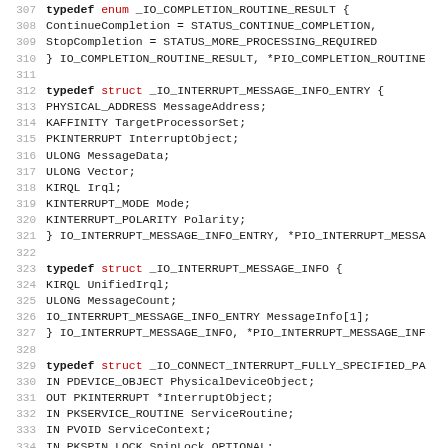[Figure (screenshot): Source code listing showing C typedef struct definitions for IO_INTERRUPT_MESSAGE_INFO_ENTRY, IO_INTERRUPT_MESSAGE_INFO, and IO_CONNECT_INTERRUPT_FULLY_SPECIFIED_PA structures, with line numbers 307-339.]